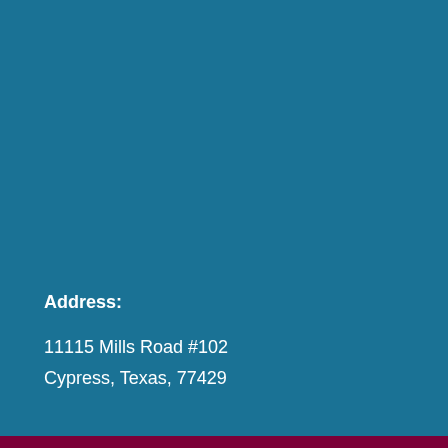Address:
11115 Mills Road #102
Cypress, Texas, 77429